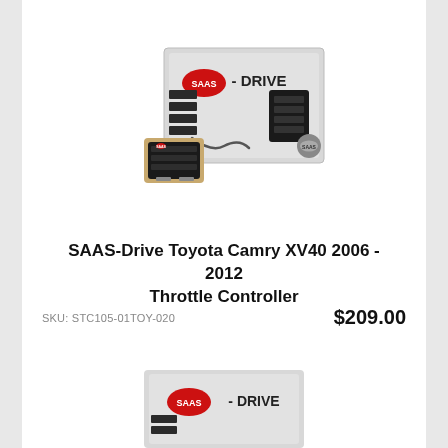[Figure (photo): SAAS-Drive throttle controller product photo with retail box, showing the device and packaging. The box reads 'SAAS - DRIVE'. A small controller unit is shown in front of the box.]
SAAS-Drive Toyota Camry XV40 2006 - 2012 Throttle Controller
SKU: STC105-01TOY-020
$209.00
[Figure (photo): Partial view of a second SAAS-Drive product, showing the top of another retail box with the SAAS logo visible, partially cropped at the bottom of the page.]